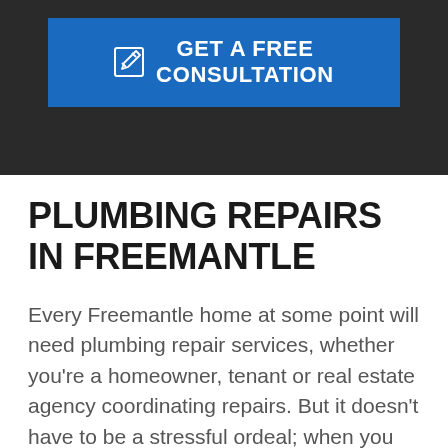[Figure (other): Dark background hero banner with a blue 'GET A FREE CONSULTATION' call-to-action button featuring a pencil/edit icon on the left]
PLUMBING REPAIRS IN FREEMANTLE
Every Freemantle home at some point will need plumbing repair services, whether you're a homeowner, tenant or real estate agency coordinating repairs. But it doesn't have to be a stressful ordeal; when you need a reliable local plumber,